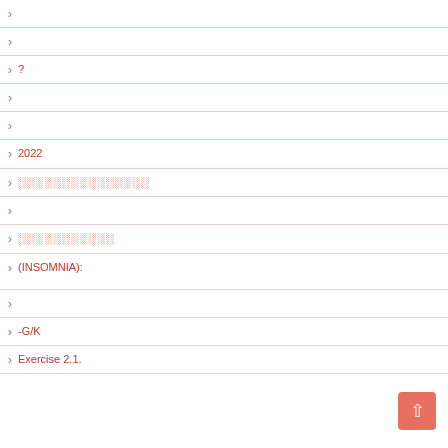›
›
› ?
›
›
› 2022
› ░░░░░░░░░░░░░░
›
› ░░░░░░░░░░
› (INSOMNIA):
›
› -G/K
› Exercise 2.1.